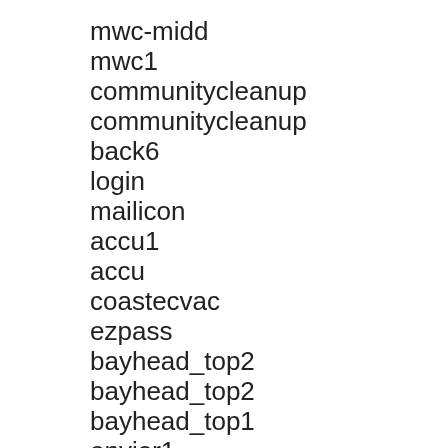mwc-midd
mwc1
communitycleanup
communitycleanup
back6
login
mailicon
accu1
accu
coastecvac
ezpass
bayhead_top2
bayhead_top2
bayhead_top1
envior1